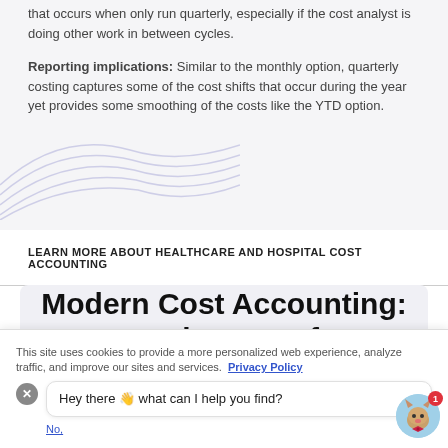that occurs when only run quarterly, especially if the cost analyst is doing other work in between cycles.
Reporting implications: Similar to the monthly option, quarterly costing captures some of the cost shifts that occur during the year yet provides some smoothing of the costs like the YTD option.
[Figure (illustration): Decorative abstract curved lines in light purple/blue color]
LEARN MORE ABOUT HEALTHCARE AND HOSPITAL COST ACCOUNTING
Modern Cost Accounting: Integrating Data from
This site uses cookies to provide a more personalized web experience, analyze traffic, and improve our sites and services. Privacy Policy
Hey there 👋 what can I help you find?